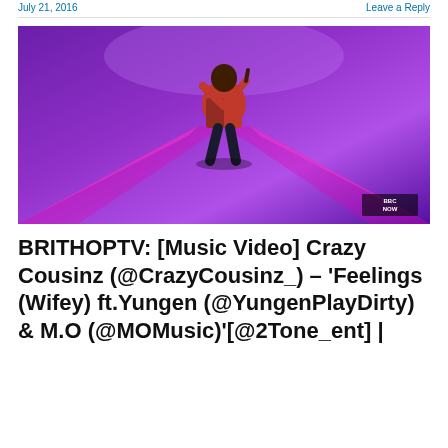July 21, 2016   Leave a Reply
[Figure (photo): Music video still: person in red jacket dancing in a purple/violet lit corridor or room, BBC NOW watermark in corner]
BRITHOPTV: [Music Video] Crazy Cousinz (@CrazyCousinz_) – 'Feelings (Wifey) ft.Yungen (@YungenPlayDirty) & M.O (@MOMusic)'[@2Tone_ent] |